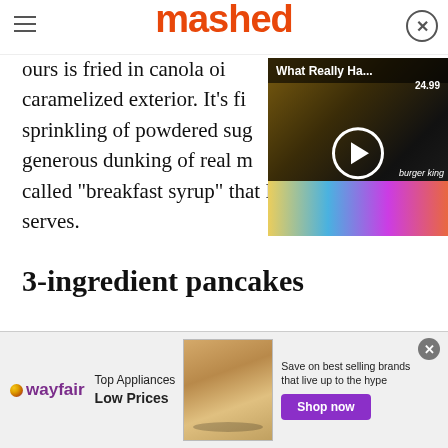mashed
ours is fried in canola oil caramelized exterior. It's fi sprinkling of powdered sug generous dunking of real m called "breakfast syrup" that BK serves.
[Figure (screenshot): Video overlay thumbnail showing 'What Really Ha...' with play button, colorful background and price tag]
3-ingredient pancakes
[Figure (infographic): Wayfair advertisement banner: 'Top Appliances Low Prices' with appliance image, 'Save on best selling brands that live up to the hype', 'Shop now' purple button]